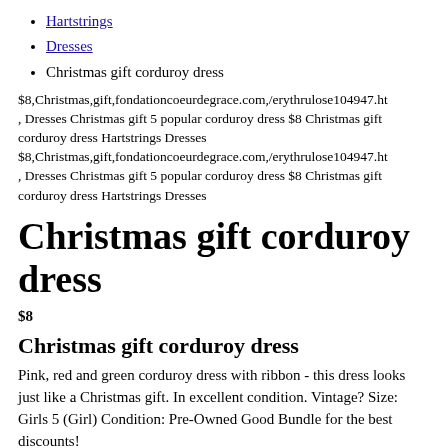Hartstrings
Dresses
Christmas gift corduroy dress
$8,Christmas,gift,fondationcoeurdegrace.com,/erythrulose104947.ht , Dresses Christmas gift 5 popular corduroy dress $8 Christmas gift corduroy dress Hartstrings Dresses $8,Christmas,gift,fondationcoeurdegrace.com,/erythrulose104947.ht , Dresses Christmas gift 5 popular corduroy dress $8 Christmas gift corduroy dress Hartstrings Dresses
Christmas gift corduroy dress
$8
Christmas gift corduroy dress
Pink, red and green corduroy dress with ribbon - this dress looks just like a Christmas gift. In excellent condition. Vintage? Size: Girls 5 (Girl) Condition: Pre-Owned Good Bundle for the best discounts!